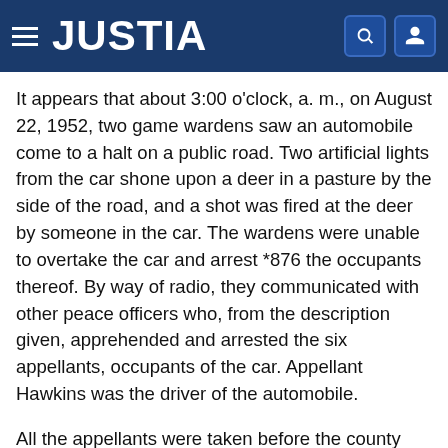JUSTIA
It appears that about 3:00 o'clock, a. m., on August 22, 1952, two game wardens saw an automobile come to a halt on a public road. Two artificial lights from the car shone upon a deer in a pasture by the side of the road, and a shot was fired at the deer by someone in the car. The wardens were unable to overtake the car and arrest *876 the occupants thereof. By way of radio, they communicated with other peace officers who, from the description given, apprehended and arrested the six appellants, occupants of the car. Appellant Hawkins was the driver of the automobile.
All the appellants were taken before the county judge, before whom each appellant entered a plea of guilty to the offense charged and waived a trial by jury. Judgment was then pronounced.